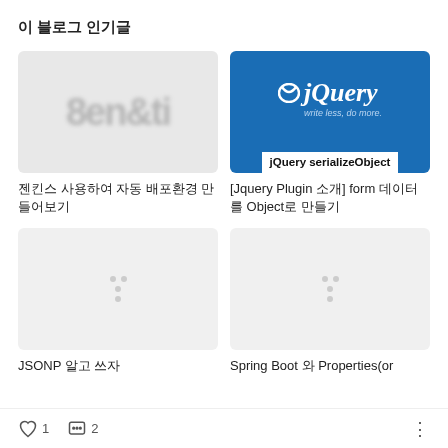이 블로그 인기글
[Figure (photo): Blurred Jenkins logo image thumbnail]
[Figure (screenshot): jQuery logo with tagline 'write less, do more.' on blue background, with 'jQuery serializeObject' text below]
젠킨스 사용하여 자동 배포환경 만들어보기
[Jquery Plugin 소개] form 데이터를 Object로 만들기
[Figure (photo): Placeholder thumbnail with dots icon]
[Figure (photo): Placeholder thumbnail with dots icon]
JSONP 알고 쓰자
Spring Boot 와 Properties(or
♡ 1   💬 2